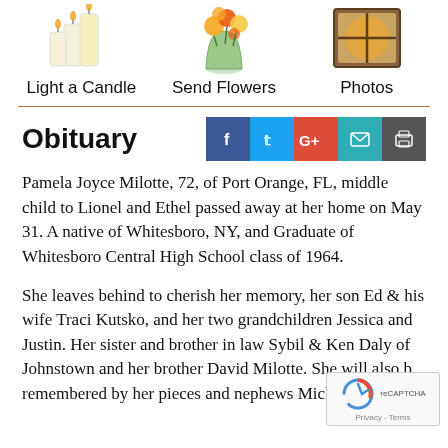[Figure (illustration): Three icon images: candles, flower vase, and window with light, each with a label below]
Light a Candle  Send Flowers  Photos
Obituary
Pamela Joyce Milotte, 72, of Port Orange, FL, middle child to Lionel and Ethel passed away at her home on May 31. A native of Whitesboro, NY, and Graduate of Whitesboro Central High School class of 1964.
She leaves behind to cherish her memory, her son Ed & his wife Traci Kutsko, and her two grandchildren Jessica and Justin. Her sister and brother in law Sybil & Ken Daly of Johnstown and her brother David Milotte. She will also be remembered by her pieces and nephews Michelle